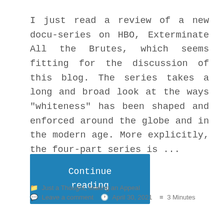I just read a review of a new docu-series on HBO, Exterminate All the Brutes, which seems fitting for the discussion of this blog. The series takes a long and broad look at the ways "whiteness" has been shaped and enforced around the globe and in the modern age. More explicitly, the four-part series is ...
Continue reading
Just a Thought, Making an Appeal | Leave a comment | April 30, 2021 | 3 Minutes